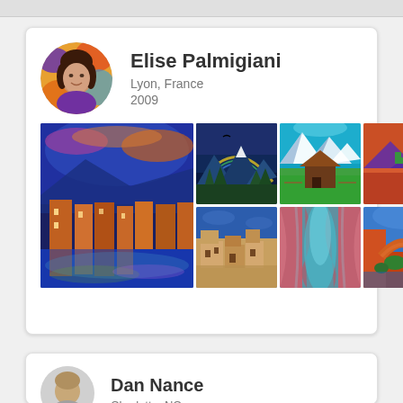[Figure (photo): Artist profile card for Elise Palmigiani showing circular avatar photo, name, location (Lyon, France), year (2009), and a grid of 7 colorful landscape paintings]
Elise Palmigiani
Lyon, France
2009
[Figure (photo): Partial artist profile card for Dan Nance showing partial circular avatar, name, and location Charlotte, NC]
Dan Nance
Charlotte, NC